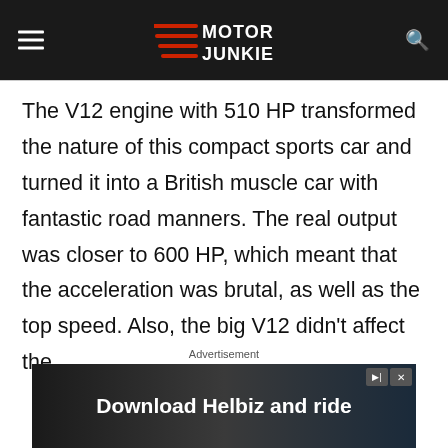Motor Junkie
The V12 engine with 510 HP transformed the nature of this compact sports car and turned it into a British muscle car with fantastic road manners. The real output was closer to 600 HP, which meant that the acceleration was brutal, as well as the top speed. Also, the big V12 didn’t affect the
[Figure (screenshot): Advertisement banner: 'Download Helbiz and ride' with dark background showing a bicycle handlebar image, with skip/close controls in top right.]